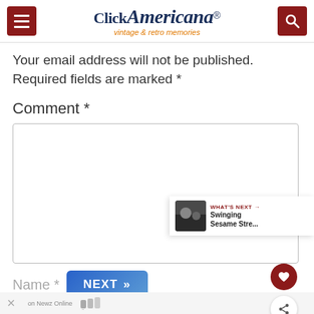Click Americana - vintage & retro memories
Your email address will not be published. Required fields are marked *
Comment *
Name *
[Figure (screenshot): NEXT button with chevrons and Newz Online advertisement bar at the bottom]